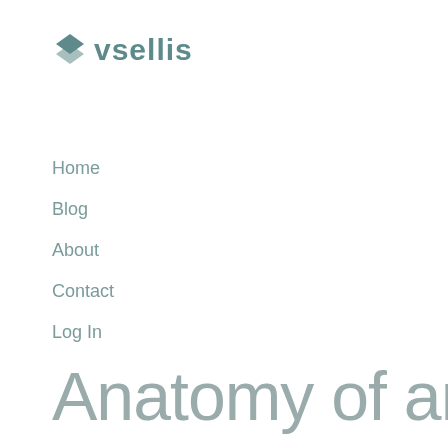[Figure (logo): vsellis logo with downward arrow/chevron icon in teal and the text 'vsellis' in teal bold font]
Home
Blog
About
Contact
Log In
Anatomy of an